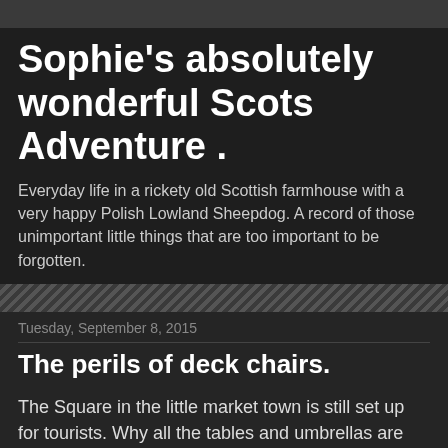Sophie's absolutely wonderful Scots Adventure .
Everyday life in a rickety old Scottish farmhouse with a very happy Polish Lowland Sheepdog. A record of those unimportant little things that are too important to be forgotten.
Tuesday, September 8, 2015
The perils of deck chairs.
The Square in the little market town is still set up for tourists. Why all the tables and umbrellas are put out when the visitors and second home owners have headed back to Paris remains a mystery. It will stay